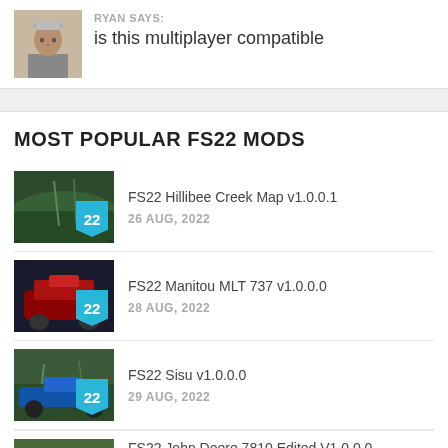RYAN SAYS:
is this multiplayer compatible
MOST POPULAR FS22 MODS
FS22 Hillibee Creek Map v1.0.0.1 — 26 AUG, 2022
FS22 Manitou MLT 737 v1.0.0.0 — 28 AUG, 2022
FS22 Sisu v1.0.0.0 — 29 AUG, 2022
FS22 John Deere 7810 Edited V1.0.0.0